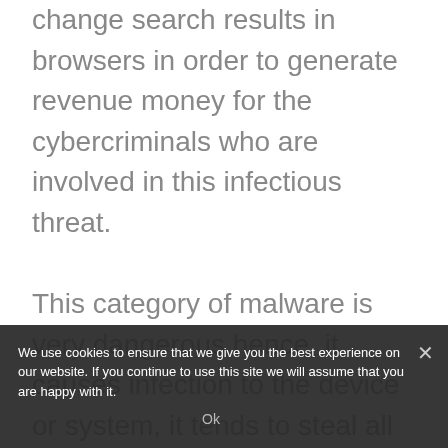change search results in browsers in order to generate revenue money for the cybercriminals who are involved in this infectious threat.
This category of malware is very dangerous hence, it causes infection to the device or system, it tends to steal all secret files and documents from your device, so the users are advised to remove them as soon as possible, and in this article, you will find the entire removal process.
We use cookies to ensure that we give you the best experience on our website. If you continue to use this site we will assume that you are happy with it.